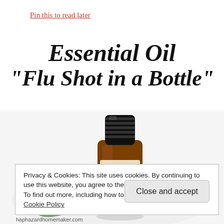Pin this to read later
Essential Oil "Flu Shot in a Bottle"
[Figure (photo): An amber essential oil bottle with a black dropper cap, surrounded by green herbs/plant sprigs on a white background]
Privacy & Cookies: This site uses cookies. By continuing to use this website, you agree to their use.
To find out more, including how to control cookies, see here:
Cookie Policy
Close and accept
haphazardhomemaker.com